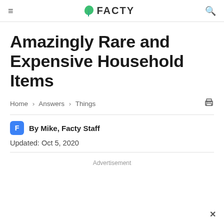≡  🌿 FACTY  🔍
Amazingly Rare and Expensive Household Items
Home > Answers > Things
By Mike, Facty Staff
Updated: Oct 5, 2020
Advertisement